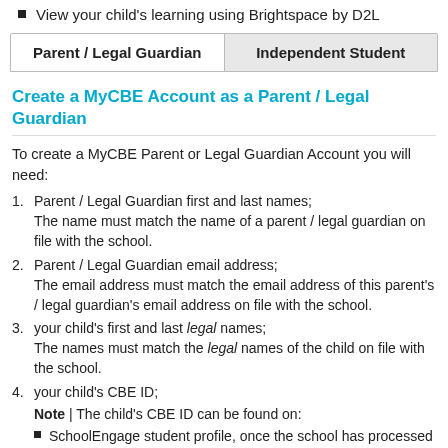View your child's learning using Brightspace by D2L
| Parent / Legal Guardian | Independent Student |
| --- | --- |
Create a MyCBE Account as a Parent / Legal Guardian
To create a MyCBE Parent or Legal Guardian Account you will need:
Parent / Legal Guardian first and last names; The name must match the name of a parent / legal guardian on file with the school.
Parent / Legal Guardian email address; The email address must match the email address of this parent's / legal guardian's email address on file with the school.
your child's first and last legal names; The names must match the legal names of the child on file with the school.
your child's CBE ID; Note | The child's CBE ID can be found on:
SchoolEngage student profile, once the school has processed the registration form.